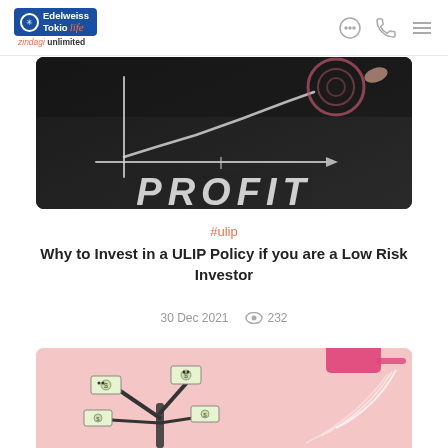Edelweiss Tokio Life — zindagi unlimited
[Figure (photo): Blackboard with chalk drawing of an arrow rising upward labeled PROFIT]
#ulip
Why to Invest in a ULIP Policy if you are a Low Risk Investor
30 Dec 2021   232
[Figure (illustration): Pink background illustration of a money tree with cartoon banknotes and a pink watering can]